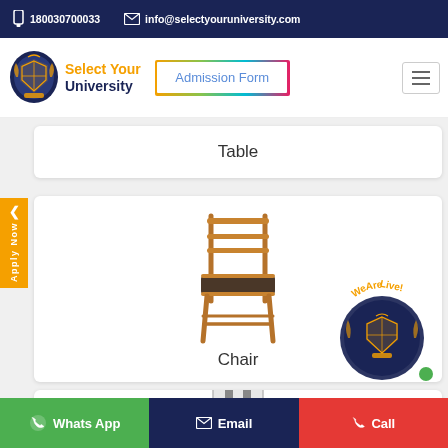180030700033   info@selectyouruniversity.com
[Figure (logo): Select Your University logo with shield emblem and laurel wreath]
Select Your University
Admission Form
Table
[Figure (photo): Wooden dining chair with dark cushion seat and ladder back]
Chair
[Figure (photo): Partially visible furniture item at bottom of page]
[Figure (logo): We Are Live! circular badge with Select Your University shield logo]
Apply Now
Whats App   Email   Call